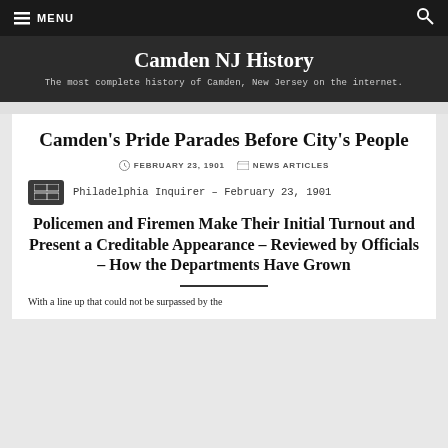MENU  [search icon]
Camden NJ History
The most complete history of Camden, New Jersey on the internet.
Camden's Pride Parades Before City's People
FEBRUARY 23, 1901  NEWS ARTICLES
Philadelphia Inquirer – February 23, 1901
Policemen and Firemen Make Their Initial Turnout and Present a Creditable Appearance – Reviewed by Officials – How the Departments Have Grown
With a line up that could not be surpassed by the